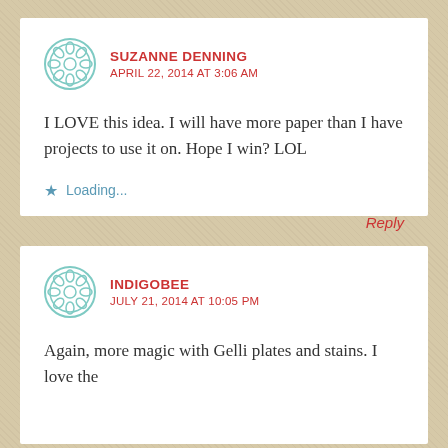SUZANNE DENNING
APRIL 22, 2014 AT 3:06 AM
I LOVE this idea. I will have more paper than I have projects to use it on. Hope I win? LOL
Loading...
Reply
INDIGOBEE
JULY 21, 2014 AT 10:05 PM
Again, more magic with Gelli plates and stains. I love the